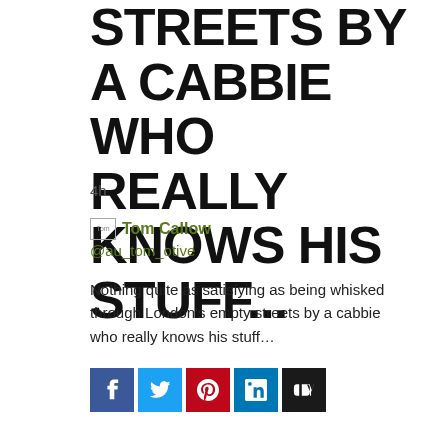STREETS BY A CABBIE WHO REALLY KNOWS HIS STUFF...
4h
Tom Callow @au_tom_otive
Nothing quite as satisfying as being whisked through London's empty streets by a cabbie who really knows his stuff…
[Figure (infographic): Social sharing buttons: Facebook, Twitter, Pinterest, LinkedIn, Digg]